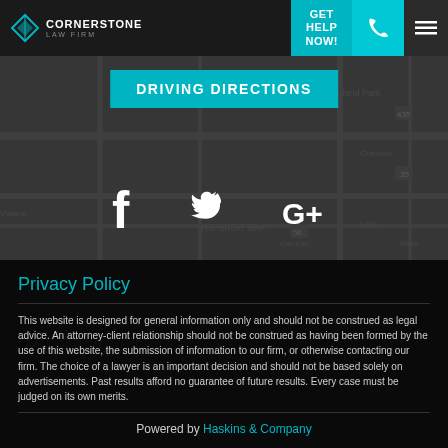CORNERSTONE LAW FIRM | GET HELP NOW!
[Figure (screenshot): Map background with DRIVING DIRECTIONS button and social media icons for Facebook, Twitter, Google+]
Privacy Policy
This website is designed for general information only and should not be construed as legal advice. An attorney-client relationship should not be construed as having been formed by the use of this website, the submission of information to our firm, or otherwise contacting our firm. The choice of a lawyer is an important decision and should not be based solely on advertisements. Past results afford no guarantee of future results. Every case must be judged on its own merits.
Powered by Haskins & Company